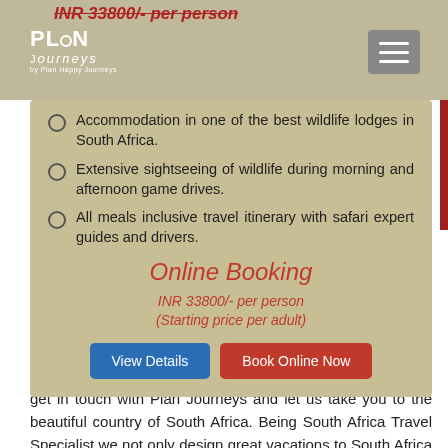INR 33800/- per person
Accommodation in one of the best wildlife lodges in South Africa.
Extensive sightseeing of wildlife during morning and afternoon game drives.
All meals inclusive travel itinerary with safari expert guides and drivers.
Online Booking
INR 33800/- per person (Starting price per adult)
For the perfect South African holiday, tailor-made by our experienced team to suit your exact requirements, please get in touch with Plan Journeys and let us take you to the beautiful country of South Africa. Being South Africa Travel Specialist we not only design great vacations to South Africa for families but